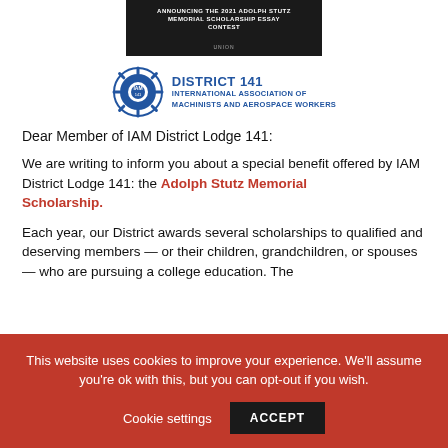[Figure (photo): Black banner image announcing the 2021 Adolph Stutz Memorial Scholarship Essay Contest with text overlaid on a dark background with hands/tools imagery]
[Figure (logo): District 141 International Association of Machinists and Aerospace Workers logo with gear/cog emblem in blue]
Dear Member of IAM District Lodge 141:
We are writing to inform you about a special benefit offered by IAM District Lodge 141: the Adolph Stutz Memorial Scholarship.
Each year, our District awards several scholarships to qualified and deserving members — or their children, grandchildren, or spouses — who are pursuing a college education. The
This website uses cookies to improve your experience. We'll assume you're ok with this, but you can opt-out if you wish.